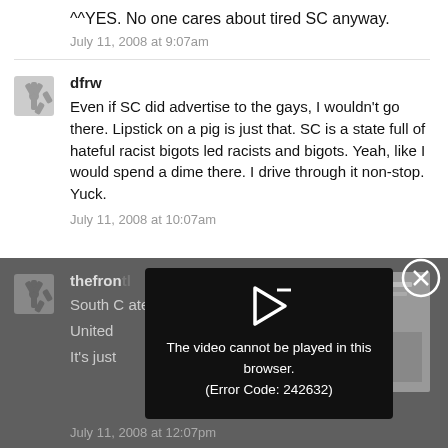^^YES. No one cares about tired SC anyway.
July 11, 2008 at 9:07am
dfrw
Even if SC did advertise to the gays, I wouldn't go there. Lipstick on a pig is just that. SC is a state full of hateful racist bigots led racists and bigots. Yeah, like I would spend a dime there. I drive through it non-stop. Yuck.
July 11, 2008 at 10:07am
thefron
South C... ate in the United...
It's just...
[Figure (screenshot): Video player error overlay with play icon and message: The video cannot be played in this browser. (Error Code: 242632), with an X close button]
July 11, 2008 at 12:07pm